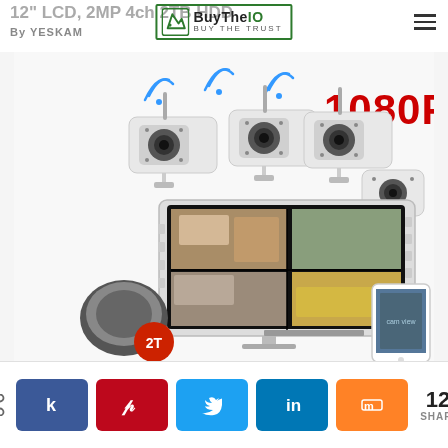12" LCD, 2MP 4ch 2TB HDD
By YESKAM
[Figure (logo): BuyTheIO logo with green border, shopping bag icon, text 'BuyTheIO' and 'Buy The Trust']
[Figure (photo): Wireless security camera system product photo showing three 1080P bullet cameras with WiFi antennas, a 12-inch LCD monitor displaying 4 camera feeds, a 2TB hard drive, and a smartphone app view]
122 SHARES
[Figure (infographic): Social share bar with Facebook, Pinterest, Twitter, LinkedIn, and Mix buttons showing 122 shares]